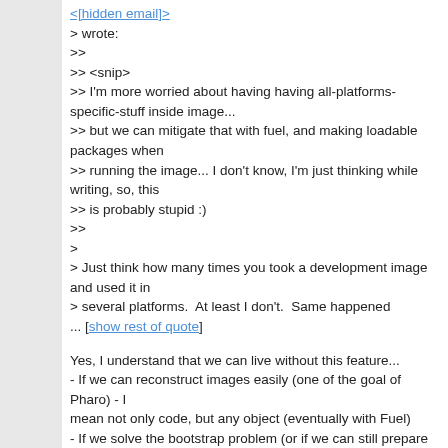<[hidden email]>
> wrote:
>>
>> <snip>
>> I'm more worried about having all-platforms-specific-stuff inside image...
>> but we can mitigate that with fuel, and making loadable packages when
>> running the image... I don't know, I'm just thinking while writing, so, this
>> is probably stupid :)
>>
>
> Just think how many times you took a development image and used it in
> several platforms.  At least I don't.  Same happened
... [show rest of quote]
Yes, I understand that we can live without this feature...
- If we can reconstruct images easily (one of the goal of Pharo) - I mean not only code, but any object (eventually with Fuel)
- If we solve the bootstrap problem (or if we can still prepare an image for cross platform startup)
- If we don't forget to always talk (send messages) thru an abstract layer, and never directly name the target library,

Since I didn't have all these tools in the past, I were forced to...